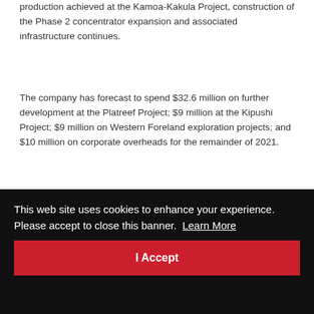production achieved at the Kamoa-Kakula Project, construction of the Phase 2 concentrator expansion and associated infrastructure continues.
The company has forecast to spend $32.6 million on further development at the Platreef Project; $9 million at the Kipushi Project; $9 million on Western Foreland exploration projects; and $10 million on corporate overheads for the remainder of 2021.
The Kamoa Holding joint venture had cash and cash equivalents on hand of $254.9 million as at September 30, 2021. Going forward, all Phase 1 operating costs and the
place
ent
iterest
num
and will mature on April 15, 2026, unless earlier repurchased,